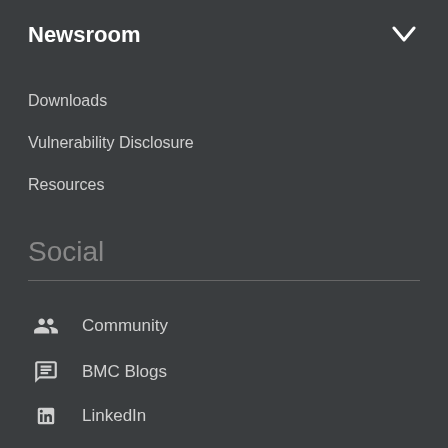Newsroom
Downloads
Vulnerability Disclosure
Resources
Social
Community
BMC Blogs
LinkedIn
Twitter
Facebook